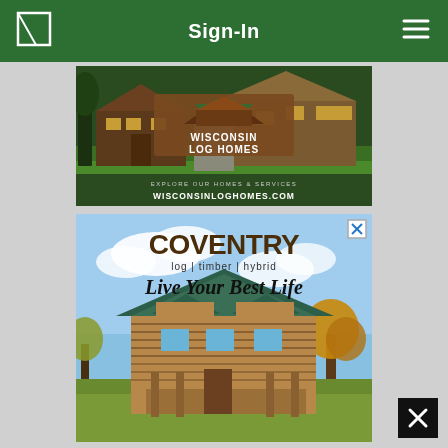Sign-In
[Figure (screenshot): Wisconsin Log Homes advertisement banner showing a log home exterior with trees, featuring the Wisconsin Log Homes logo and text 'EXPLORE OUR HOMES & SERVICES WISCONSINLOGHOMES.COM']
[Figure (screenshot): Coventry log | timber | hybrid advertisement showing a large log home with text 'Live Your Best Life' and a close button in top right corner]
[Figure (screenshot): Dark overlay close button (X) in bottom right corner]